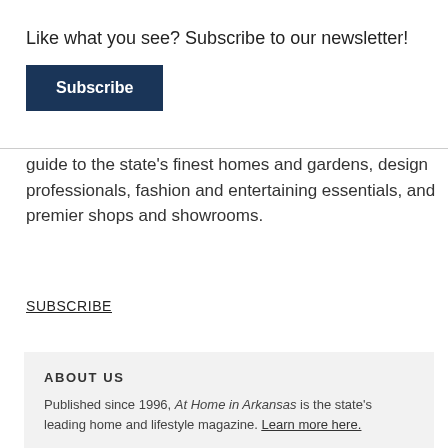Like what you see? Subscribe to our newsletter!
Subscribe
guide to the state's finest homes and gardens, design professionals, fashion and entertaining essentials, and premier shops and showrooms.
SUBSCRIBE
ABOUT US
Published since 1996, At Home in Arkansas is the state's leading home and lifestyle magazine. Learn more here.
FOLLOW US
Pinterest
Facebook